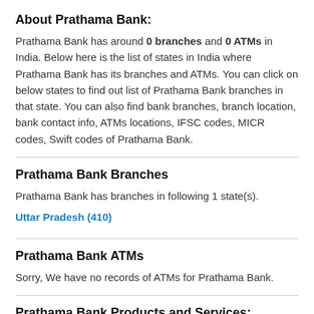About Prathama Bank:
Prathama Bank has around 0 branches and 0 ATMs in India. Below here is the list of states in India where Prathama Bank has its branches and ATMs. You can click on below states to find out list of Prathama Bank branches in that state. You can also find bank branches, branch location, bank contact info, ATMs locations, IFSC codes, MICR codes, Swift codes of Prathama Bank.
Prathama Bank Branches
Prathama Bank has branches in following 1 state(s).
Uttar Pradesh (410)
Prathama Bank ATMs
Sorry, We have no records of ATMs for Prathama Bank.
Prathama Bank Products and Services: